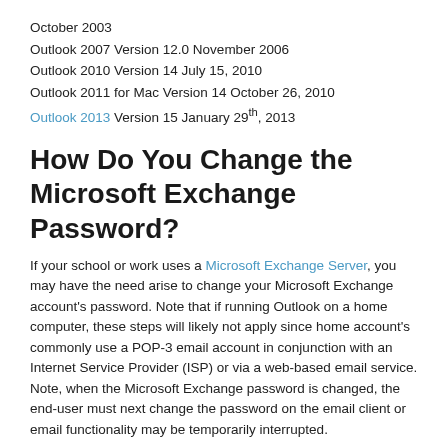October 2003
Outlook 2007 Version 12.0 November 2006
Outlook 2010 Version 14 July 15, 2010
Outlook 2011 for Mac Version 14 October 26, 2010
Outlook 2013 Version 15 January 29th, 2013
How Do You Change the Microsoft Exchange Password?
If your school or work uses a Microsoft Exchange Server, you may have the need arise to change your Microsoft Exchange account's password. Note that if running Outlook on a home computer, these steps will likely not apply since home account’s commonly use a POP-3 email account in conjunction with an Internet Service Provider (ISP) or via a web-based email service. Note, when the Microsoft Exchange password is changed, the end-user must next change the password on the email client or email functionality may be temporarily interrupted.
Step 1 – Depress the “CTRL,” “ALT,” and “DELETE” keys simultaneously on the client computer.